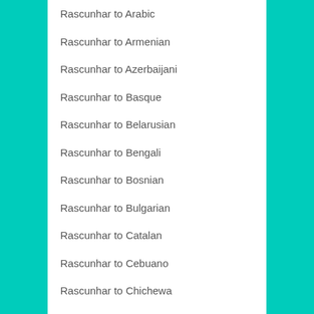Rascunhar to Arabic
Rascunhar to Armenian
Rascunhar to Azerbaijani
Rascunhar to Basque
Rascunhar to Belarusian
Rascunhar to Bengali
Rascunhar to Bosnian
Rascunhar to Bulgarian
Rascunhar to Catalan
Rascunhar to Cebuano
Rascunhar to Chichewa
Rascunhar to Chinese Simplified
Rascunhar to Chinese Traditional
Rascunhar to Corsican